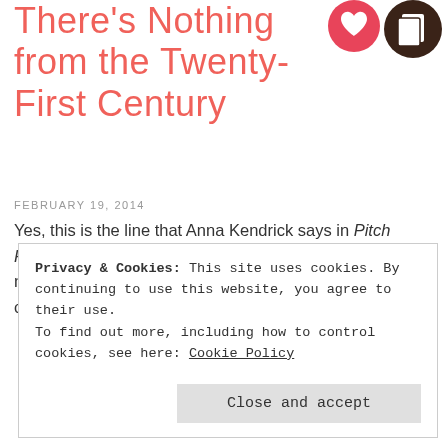There's Nothing from the Twenty-First Century
FEBRUARY 19, 2014
Yes, this is the line that Anna Kendrick says in Pitch Perfect after she looks at the Barden Bellas' set list. I never thought I'd agree with that assessment, but I'm coming around to the idea.
Privacy & Cookies: This site uses cookies. By continuing to use this website, you agree to their use.
To find out more, including how to control cookies, see here: Cookie Policy
Close and accept